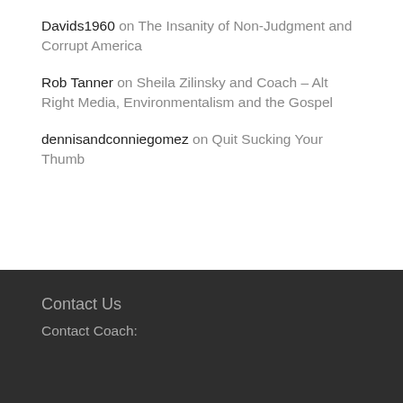Davids1960 on The Insanity of Non-Judgment and Corrupt America
Rob Tanner on Sheila Zilinsky and Coach – Alt Right Media, Environmentalism and the Gospel
dennisandconniegomez on Quit Sucking Your Thumb
Contact Us
Contact Coach: